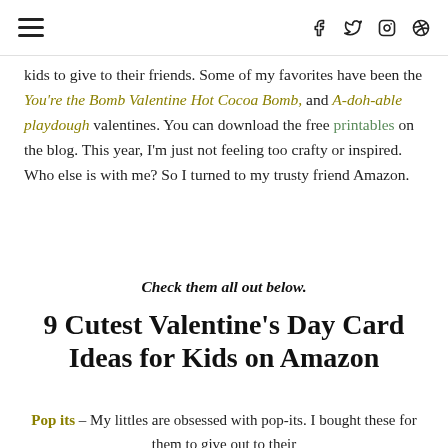☰  f  𝕥  ○  ⊕
kids to give to their friends. Some of my favorites have been the You're the Bomb Valentine Hot Cocoa Bomb, and A-doh-able playdough valentines. You can download the free printables on the blog. This year, I'm just not feeling too crafty or inspired. Who else is with me? So I turned to my trusty friend Amazon.
Check them all out below.
9 Cutest Valentine's Day Card Ideas for Kids on Amazon
Pop its – My littles are obsessed with pop-its. I bought these for them to give out to their